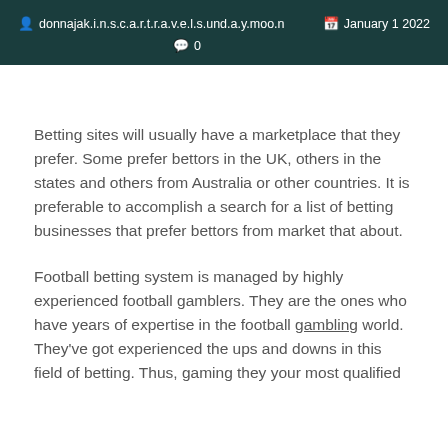donnajak.i.n.s.c.a.r.t.r.a.v.e.l.s.und.a.y.moo.n   January 1 2022   0
Betting sites will usually have a marketplace that they prefer. Some prefer bettors in the UK, others in the states and others from Australia or other countries. It is preferable to accomplish a search for a list of betting businesses that prefer bettors from market that about.
Football betting system is managed by highly experienced football gamblers. They are the ones who have years of expertise in the football gambling world. They've got experienced the ups and downs in this field of betting. Thus, gaming they your most qualified